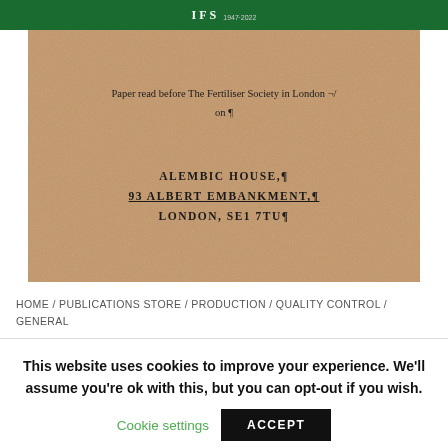IFS 1947-2022
[Figure (photo): Scanned book cover on kraft/tan paper. Text reads: 'Paper read before The Fertiliser Society in London on ¶' and address 'ALEMBIC HOUSE,¶ 93 ALBERT EMBANKMENT,¶ LONDON, SE1 7TU¶']
HOME / PUBLICATIONS STORE / PRODUCTION / QUALITY CONTROL / GENERAL
This website uses cookies to improve your experience. We'll assume you're ok with this, but you can opt-out if you wish.
Cookie settings   ACCEPT